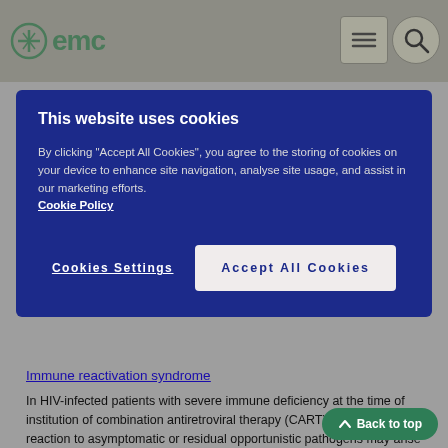emc
This website uses cookies

By clicking "Accept All Cookies", you agree to the storing of cookies on your device to enhance site navigation, analyse site usage, and assist in our marketing efforts.
Cookie Policy

Cookies Settings    Accept All Cookies
Immune reactivation syndrome
In HIV-infected patients with severe immune deficiency at the time of institution of combination antiretroviral therapy (CART), an inflammatory reaction to asymptomatic or residual opportunistic pathogens may arise and cause serious clinical conditions, or aggravation of symptoms. Typically, such reactions have been observed within the first few weeks or months of initiation of CART. Relevant examples are cytomegalovirus retinitis, generalised and/or focal mycobacterial infections, and Pneumocystis jirovecii pneumonia. Any inflammatory symptoms should be evaluated and treatment instituted when necessary. Autoimmune disorders (such as Graves' disease and autoimmune hepatitis) have also been reported to occur in the setting of immune reactivation; however, the